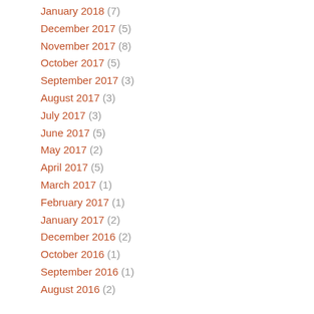January 2018 (7)
December 2017 (5)
November 2017 (8)
October 2017 (5)
September 2017 (3)
August 2017 (3)
July 2017 (3)
June 2017 (5)
May 2017 (2)
April 2017 (5)
March 2017 (1)
February 2017 (1)
January 2017 (2)
December 2016 (2)
October 2016 (1)
September 2016 (1)
August 2016 (2)